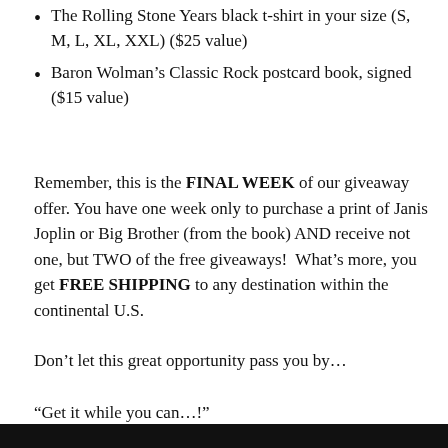The Rolling Stone Years black t-shirt in your size (S, M, L, XL, XXL) ($25 value)
Baron Wolman’s Classic Rock postcard book, signed ($15 value)
Remember, this is the FINAL WEEK of our giveaway offer. You have one week only to purchase a print of Janis Joplin or Big Brother (from the book) AND receive not one, but TWO of the free giveaways!  What’s more, you get FREE SHIPPING to any destination within the continental U.S.
Don’t let this great opportunity pass you by…
“Get it while you can…!”